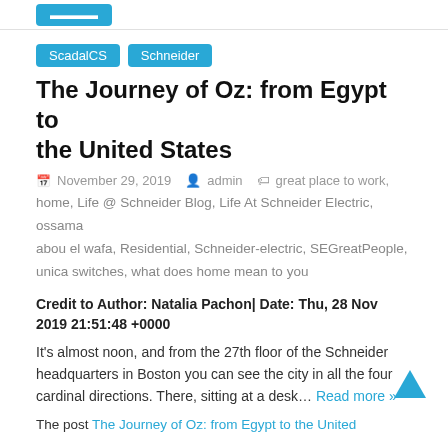[blue button top bar]
ScadalCS
Schneider
The Journey of Oz: from Egypt to the United States
November 29, 2019  admin  great place to work, home, Life @ Schneider Blog, Life At Schneider Electric, ossama abou el wafa, Residential, Schneider-electric, SEGreatPeople, unica switches, what does home mean to you
Credit to Author: Natalia Pachon| Date: Thu, 28 Nov 2019 21:51:48 +0000
It's almost noon, and from the 27th floor of the Schneider headquarters in Boston you can see the city in all the four cardinal directions. There, sitting at a desk... Read more »
The post The Journey of Oz: from Egypt to the United